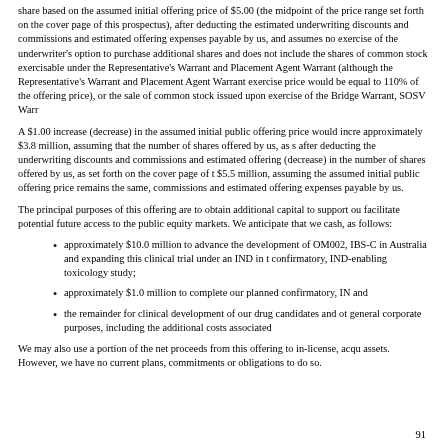share based on the assumed initial offering price of $5.00 (the midpoint of the price range set forth on the cover page of this prospectus), after deducting the estimated underwriting discounts and commissions and estimated offering expenses payable by us, and assumes no exercise of the underwriter's option to purchase additional shares and does not include the shares of common stock exercisable under the Representative's Warrant and Placement Agent Warrant (although the Representative's Warrant and Placement Agent Warrant exercise price would be equal to 110% of the offering price), or the sale of common stock issued upon exercise of the Bridge Warrant, SOSV Warrants or other warrants.
A $1.00 increase (decrease) in the assumed initial public offering price would increase (decrease) the net proceeds to us from this offering by approximately $3.8 million, assuming that the number of shares offered by us, as set forth on the cover page of this prospectus, remains the same and after deducting the underwriting discounts and commissions and estimated offering expenses payable by us. Similarly, each increase (decrease) in the number of shares offered by us, as set forth on the cover page of this prospectus, by 1.0 million shares would increase (decrease) our net proceeds by approximately $5.5 million, assuming the assumed initial public offering price remains the same, and after deducting the estimated underwriting discounts and commissions and estimated offering expenses payable by us.
The principal purposes of this offering are to obtain additional capital to support our operations, establish a public market for our common stock and facilitate potential future access to the public equity markets. We anticipate that we will use the net proceeds from this offering for the following purposes in cash, as follows:
approximately $10.0 million to advance the development of OM002, including completing our ongoing Phase 2 clinical trial for IBS-C in Australia and expanding this clinical trial under an IND in the United States, and completing a confirmatory, IND-enabling toxicology study;
approximately $1.0 million to complete our planned confirmatory, IND-enabling toxicology study for OM005; and
the remainder for clinical development of our drug candidates and other research and development activities, and general corporate purposes, including the additional costs associated with being a public company.
We may also use a portion of the net proceeds from this offering to in-license, acquire or invest in complementary businesses, technologies, or assets. However, we have no current plans, commitments or obligations to do so.
91